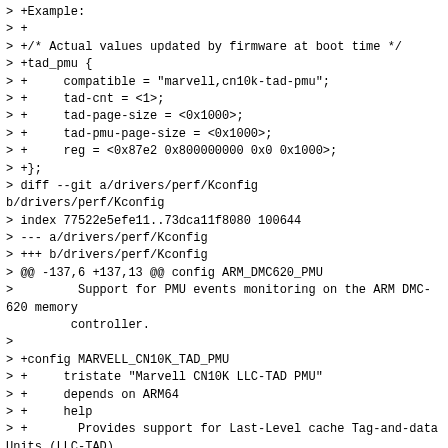> +Example:
> +
> +/* Actual values updated by firmware at boot time */
> +tad_pmu {
> +	compatible = "marvell,cn10k-tad-pmu";
> +	tad-cnt = <1>;
> +	tad-page-size = <0x1000>;
> +	tad-pmu-page-size = <0x1000>;
> +	reg = <0x87e2 0x800000000 0x0 0x1000>;
> +};
> diff --git a/drivers/perf/Kconfig b/drivers/perf/Kconfig
> index 77522e5efe11..73dca11f8080 100644
> --- a/drivers/perf/Kconfig
> +++ b/drivers/perf/Kconfig
> @@ -137,6 +137,13 @@ config ARM_DMC620_PMU
> 		Support for PMU events monitoring on the ARM DMC-620 memory
> 		controller.
> 
> +config MARVELL_CN10K_TAD_PMU
> +	tristate "Marvell CN10K LLC-TAD PMU"
> +	depends on ARM64
> +	help
> +		Provides support for Last-Level cache Tag-and-data Units (LLC-TAD)
> +		performance monitors on CN10K family silicons.
> +
>  source "drivers/perf/hisilicon/Kconfig"